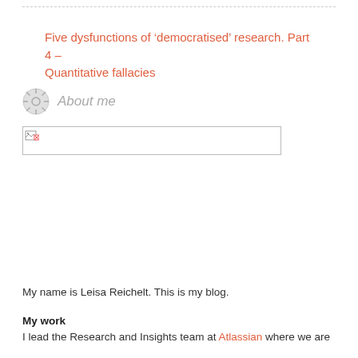Five dysfunctions of ‘democratised’ research. Part 4 – Quantitative fallacies
About me
[Figure (photo): Broken image placeholder for a profile photo]
My name is Leisa Reichelt. This is my blog.
My work
I lead the Research and Insights team at Atlassian where we are